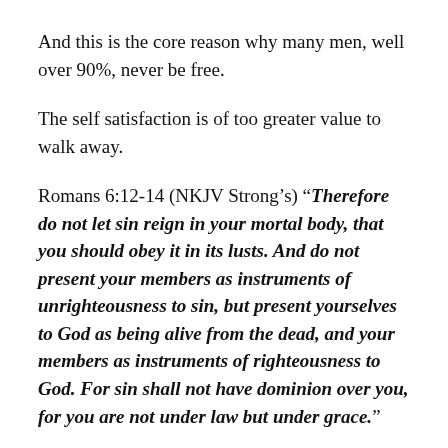And this is the core reason why many men, well over 90%, never be free.
The self satisfaction is of too greater value to walk away.
Romans 6:12-14 (NKJV Strong’s) “Therefore do not let sin reign in your mortal body, that you should obey it in its lusts. And do not present your members as instruments of unrighteousness to sin, but present yourselves to God as being alive from the dead, and your members as instruments of righteousness to God. For sin shall not have dominion over you, for you are not under law but under grace.”